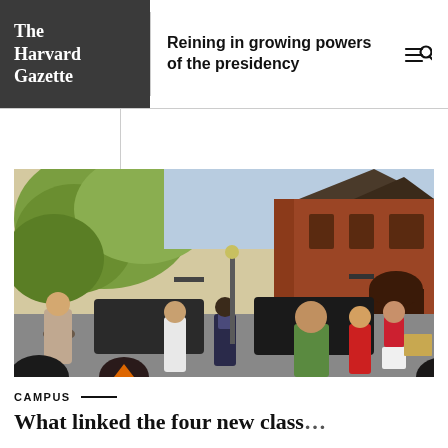The Harvard Gazette
Reining in growing powers of the presidency
[Figure (photo): Busy street scene outside a red brick Harvard building with trees, cars with open trunks, and many people walking during what appears to be move-in day]
CAMPUS
What linked the four new class...